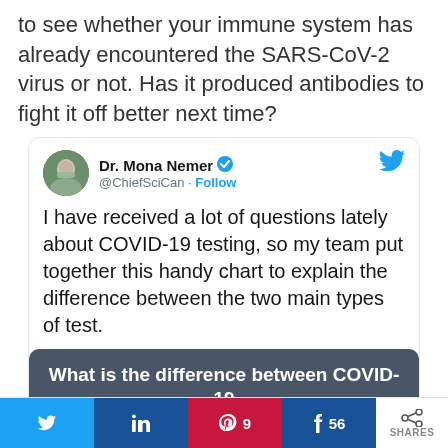to see whether your immune system has already encountered the SARS-CoV-2 virus or not. Has it produced antibodies to fight it off better next time?
[Figure (screenshot): Embedded tweet from Dr. Mona Nemer (@ChiefSciCan) with verified badge and Follow button. Tweet text: 'I have received a lot of questions lately about COVID-19 testing, so my team put together this handy chart to explain the difference between the two main types of test.' Below the tweet is an infographic card with dark grey background titled 'What is the difference between COVID-19 PCR and serology testing?' showing two columns: left column 'IS THE INDIVIDUAL INFECTED?' with Swab test and PCR badges; right column 'WAS THE INDIVIDUAL IN...' with Blood test and Serology badges. A circular dark overlay with a Q/chat icon partially covers the bottom-right.]
[Figure (infographic): Social share bar at bottom with Twitter, LinkedIn, Pinterest (count: 9), Facebook (count: 56) buttons, and a share icon with SHARES label.]